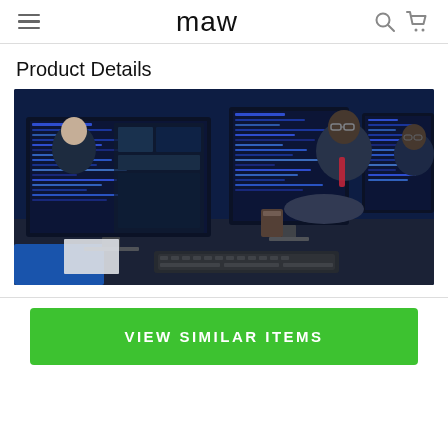maw
Product Details
[Figure (photo): Person working at a multi-monitor computer workstation with code and software visible on screens, in a dark office environment with colleagues in background.]
VIEW SIMILAR ITEMS